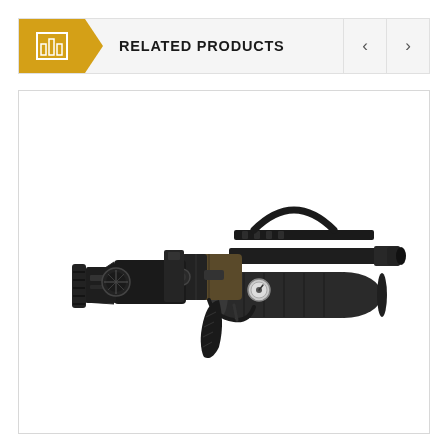RELATED PRODUCTS
[Figure (photo): A compact PCP (Pre-Charged Pneumatic) air rifle with a folding stock, pistol grip, top carry handle with rail, suppressor/moderator mounted under the barrel, and a pressure gauge. The firearm appears to be a FX Impact or similar bullpup/compact PCP rifle in black and dark earth/tan finish.]